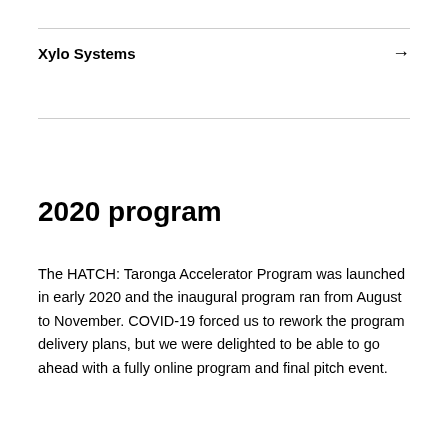Xylo Systems →
2020 program
The HATCH: Taronga Accelerator Program was launched in early 2020 and the inaugural program ran from August to November. COVID-19 forced us to rework the program delivery plans, but we were delighted to be able to go ahead with a fully online program and final pitch event.